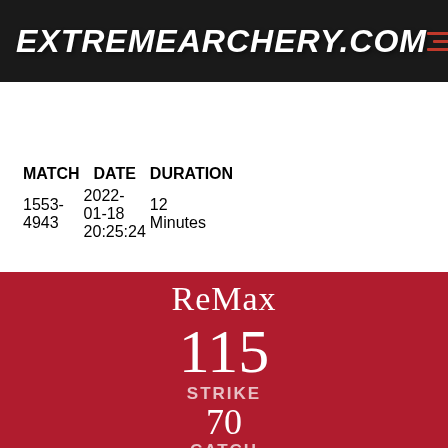ExtremeArchery.com
Home / Matches / Viewing Match
| MATCH | DATE | DURATION |
| --- | --- | --- |
| 1553-
4943 | 2022-
01-18
20:25:24 | 12
Minutes |
ReMax
115
STRIKE
70
CATCH